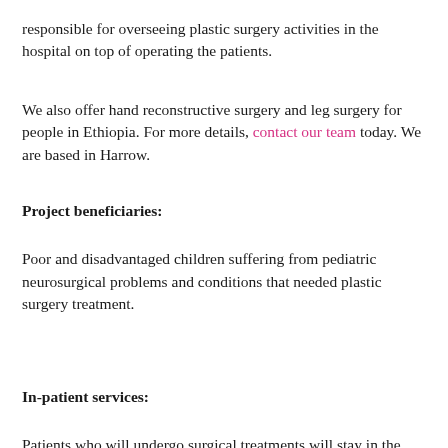responsible for overseeing plastic surgery activities in the hospital on top of operating the patients.
We also offer hand reconstructive surgery and leg surgery for people in Ethiopia. For more details, contact our team today. We are based in Harrow.
Project beneficiaries:
Poor and disadvantaged children suffering from pediatric neurosurgical problems and conditions that needed plastic surgery treatment.
In-patient services:
Patients who will undergo surgical treatments will stay in the inpatient ward under the care and close follow up of physicians and nurses. Pre-operative and post-operative care